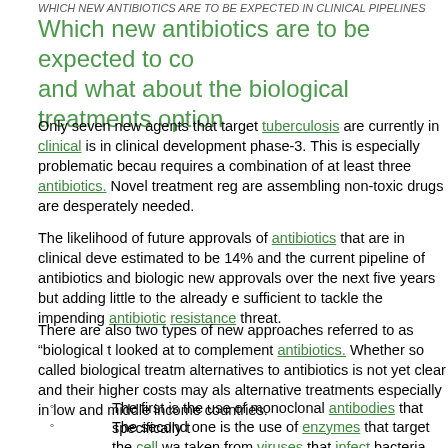WHICH NEW ANTIBIOTICS ARE TO BE EXPECTED IN CLINICAL PIPELINES
Which new antibiotics are to be expected to co and what about the biological treatments option
Only seven new agents that target tuberculosis are currently in clinical is in clinical development phase-3. This is especially problematic becau requires a combination of at least three antibiotics. Novel treatment reg are assembling non-toxic drugs are desperately needed.
The likelihood of future approvals of antibiotics that are in clinical deve estimated to be 14% and the current pipeline of antibiotics and biologic new approvals over the next five years but adding little to the already e sufficient to tackle the impending antibiotic resistance threat.
There are also two types of new approaches referred to as "biological t looked at to complement antibiotics. Whether so called biological treatm alternatives to antibiotics is not yet clear and their higher costs may als alternative treatments especially in low and middle income countries.
The first is the use of monoclonal antibodies that specifically t
The second one is the use of enzymes that target the cell wa taken from viruses that infect bacteria. This method is promisi pathway to fight bacteria, but it is still early in development to